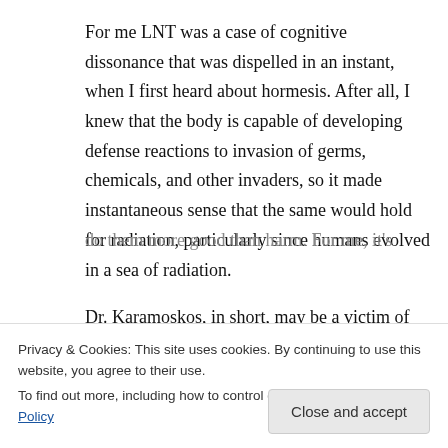For me LNT was a case of cognitive dissonance that was dispelled in an instant, when I first heard about hormesis. After all, I knew that the body is capable of developing defense reactions to invasion of germs, chemicals, and other invaders, so it made instantaneous sense that the same would hold for radiation, particularly since humans evolved in a sea of radiation.
Dr. Karamoskos, in short, may be a victim of his training. The best that radiologists and nuclear
do them more good than harm. For me, it's
Privacy & Cookies: This site uses cookies. By continuing to use this website, you agree to their use.
To find out more, including how to control cookies, see here: Cookie Policy